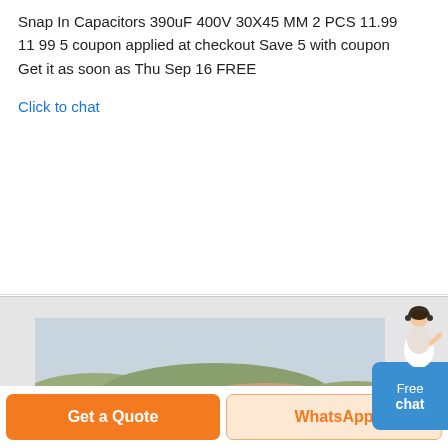Snap In Capacitors 390uF 400V 30X45 MM 2 PCS 11.99
11 99 5 coupon applied at checkout Save 5 with coupon
Get it as soon as Thu Sep 16 FREE
Click to chat
[Figure (photo): Mining or quarry site with yellow cone crusher machine, conveyor belts, and piles of gravel/sand material outdoors in a barren landscape.]
Free chat
Get a Quote
WhatsApp